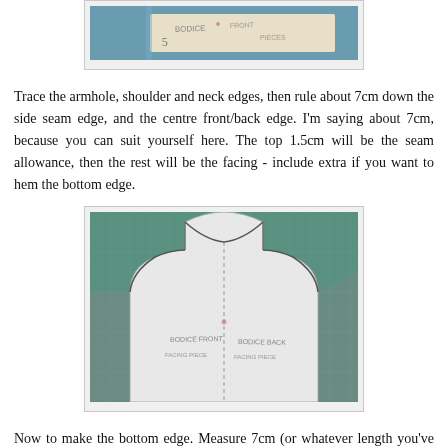[Figure (photo): Top portion of a sewing pattern piece on a cutting mat, cropped at the top of the page]
Trace the armhole, shoulder and neck edges, then rule about 7cm down the side seam edge, and the centre front/back edge.  I'm saying about 7cm, because you can suit yourself here.  The top 1.5cm will be the seam allowance, then the rest will be the facing - include extra if you want to hem the bottom edge.
[Figure (photo): A sewing pattern piece for a bodice/facing, showing the armhole, shoulder, and neckline traced on white paper, placed on a green cutting mat]
Now to make the bottom edge.  Measure 7cm (or whatever length you've used) down from the armhole and neckline.  Do this every few cms along, marking the distance with a dot, for about half way along the edge.  At all these places, rule a 7cm dot to dot line.